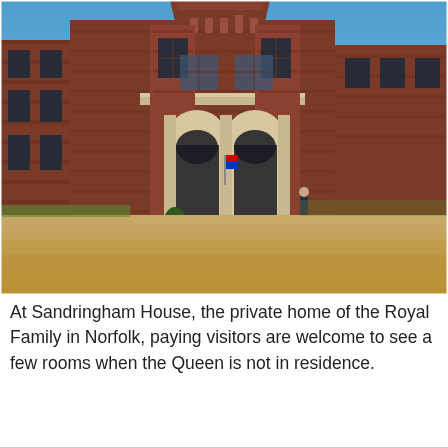[Figure (photo): Exterior photograph of Sandringham House, a large Victorian red-brick country house with ornate stone arches at the entrance. A gravel forecourt is in the foreground. A lone figure stands near the entrance. Blue sky and trees in the background.]
At Sandringham House, the private home of the Royal Family in Norfolk, paying visitors are welcome to see a few rooms when the Queen is not in residence.